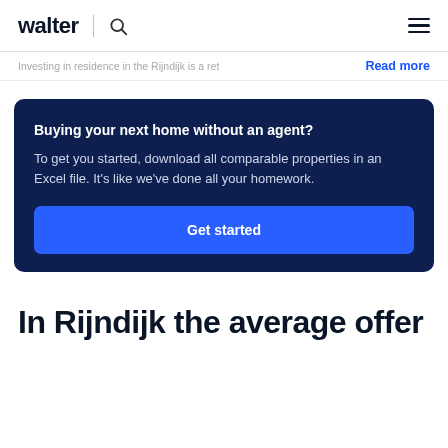walter
Investing in residence in the Rijndijk is a ret…
Read more
Buying your next home without an agent?
To get you started, download all comparable properties in an Excel file. It's like we've done all your homework.
Get started
In Rijndijk the average offer